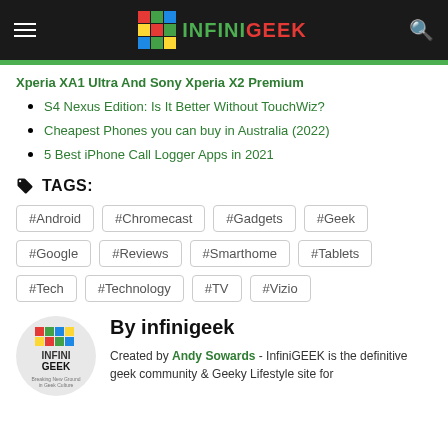INFINIGEEK navigation header
Xperia XA1 Ultra And Sony Xperia X2 Premium
S4 Nexus Edition: Is It Better Without TouchWiz?
Cheapest Phones you can buy in Australia (2022)
5 Best iPhone Call Logger Apps in 2021
TAGS:
#Android #Chromecast #Gadgets #Geek #Google #Reviews #Smarthome #Tablets #Tech #Technology #TV #Vizio
By infinigeek
Created by Andy Sowards - InfiniGEEK is the definitive geek community & Geeky Lifestyle site for